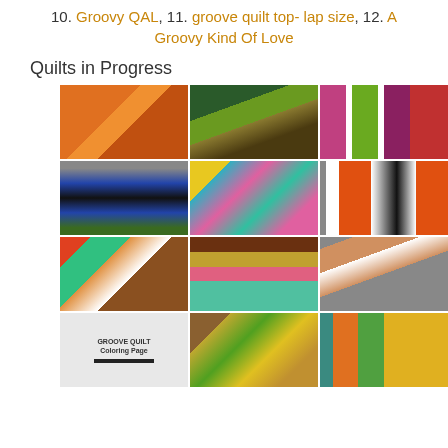10. Groovy QAL, 11. groove quilt top- lap size, 12. A Groovy Kind Of Love
Quilts in Progress
[Figure (photo): 3x4 grid of quilt photos showing various groove quilt patterns in progress, with colorful geometric designs including orange, green, pink, blue, and brown quilts.]